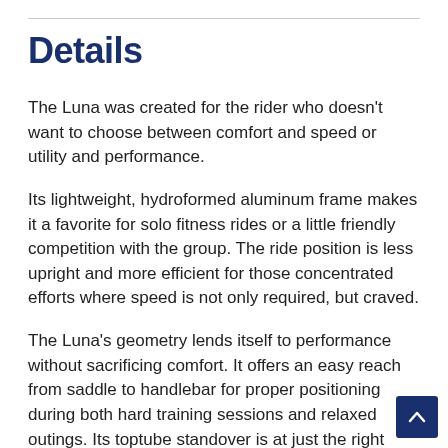Details
The Luna was created for the rider who doesn't want to choose between comfort and speed or utility and performance.
Its lightweight, hydroformed aluminum frame makes it a favorite for solo fitness rides or a little friendly competition with the group. The ride position is less upright and more efficient for those concentrated efforts where speed is not only required, but craved.
The Luna's geometry lends itself to performance without sacrificing comfort. It offers an easy reach from saddle to handlebar for proper positioning during both hard training sessions and relaxed outings. Its toptube standover is at just the right height for easy mounting without compromising the frame's performance-enhancing